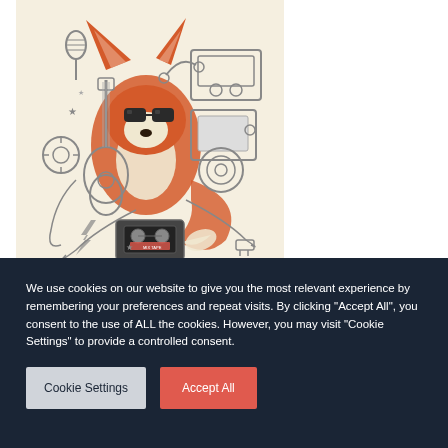[Figure (illustration): Colorful cartoon illustration of a fox wearing sunglasses surrounded by music equipment, electronics, cassette tapes, guitars, microphones, radios, and other retro gadgets. The fox is depicted in orange/red tones against a beige background, with the surrounding objects drawn in grey line art style.]
We use cookies on our website to give you the most relevant experience by remembering your preferences and repeat visits. By clicking "Accept All", you consent to the use of ALL the cookies. However, you may visit "Cookie Settings" to provide a controlled consent.